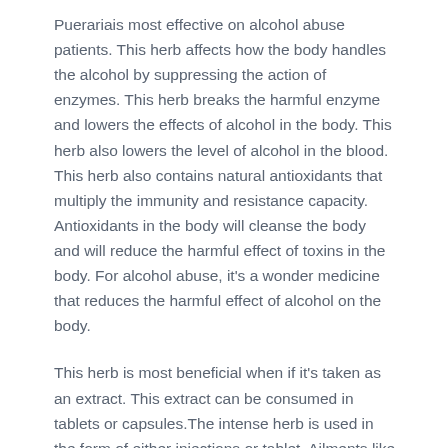Puerariais most effective on alcohol abuse patients. This herb affects how the body handles the alcohol by suppressing the action of enzymes. This herb breaks the harmful enzyme and lowers the effects of alcohol in the body. This herb also lowers the level of alcohol in the blood. This herb also contains natural antioxidants that multiply the immunity and resistance capacity. Antioxidants in the body will cleanse the body and will reduce the harmful effect of toxins in the body. For alcohol abuse, it's a wonder medicine that reduces the harmful effect of alcohol on the body.
This herb is most beneficial when if it's taken as an extract. This extract can be consumed in tablets or capsules.The intense herb is used in the form of either injections or tablet. Ailments like glaucoma, hypertension, heart attack, angina, myocarditis, neck pain, dizziness and head pains are used to treat with these herbs. The current exploration also shows that these herbs are also beneficial for handling neurological diseases. The use of these herbs also helps to regularize the circulation of blood to the brain. Also in cardiac flow of blood, these herbs are the most beneficial and effective